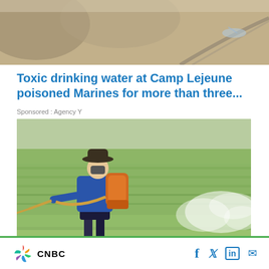[Figure (photo): Partial view of a rocky/sandy landscape with a road visible, top portion of the page, cropped]
Toxic drinking water at Camp Lejeune poisoned Marines for more than three...
Sponsored : Agency Y
[Figure (photo): A farmer wearing a hat and blue long-sleeve shirt, carrying a backpack pesticide sprayer, spraying chemicals over a green rice paddy field. A white spray cloud is visible to the right.]
Jury Finds Roundup Responsible For
[Figure (logo): CNBC logo with peacock icon on the left, and social media icons (Facebook, Twitter, LinkedIn, Email) on the right, in a footer bar with a green top border.]